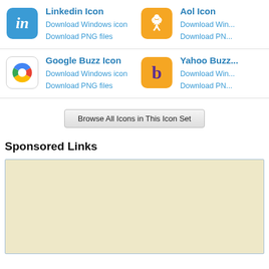[Figure (logo): LinkedIn blue icon with 'in' text]
Linkedin Icon
Download Windows icon
Download PNG files
[Figure (logo): AOL orange icon with running man figure]
Aol Icon
Download Win...
Download PN...
[Figure (logo): Google Buzz icon with colorful logo]
Google Buzz Icon
Download Windows icon
Download PNG files
[Figure (logo): Yahoo Buzz orange icon with purple b]
Yahoo Buzz...
Download Win...
Download PN...
Browse All Icons in This Icon Set
Sponsored Links
[Figure (other): Advertisement placeholder box with beige background]